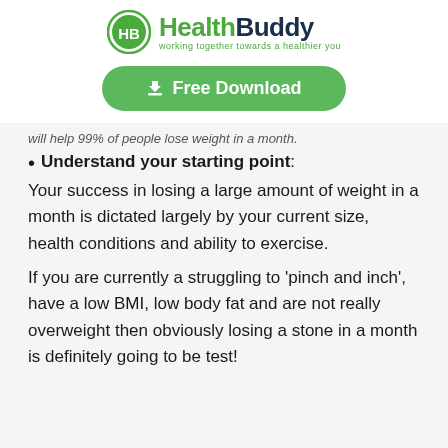[Figure (logo): HealthBuddy logo with green circle HB icon and tagline 'working together towards a healthier you']
[Figure (other): Green rounded rectangle button with download icon and text 'Free Download']
will help 99% of people lose weight in a month.
Understand your starting point:
Your success in losing a large amount of weight in a month is dictated largely by your current size, health conditions and ability to exercise.
If you are currently a struggling to ‘pinch and inch’, have a low BMI, low body fat and are not really overweight then obviously losing a stone in a month is definitely going to be test!